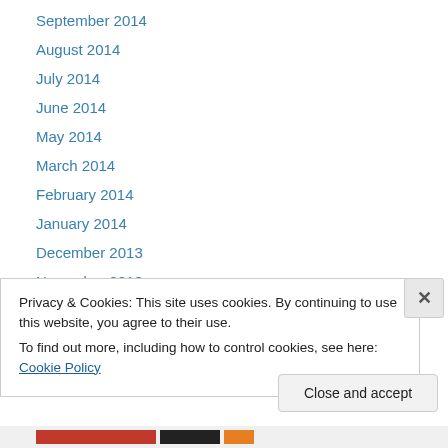September 2014
August 2014
July 2014
June 2014
May 2014
March 2014
February 2014
January 2014
December 2013
November 2013
October 2013
September 2013
August 2013
Privacy & Cookies: This site uses cookies. By continuing to use this website, you agree to their use. To find out more, including how to control cookies, see here: Cookie Policy
Close and accept